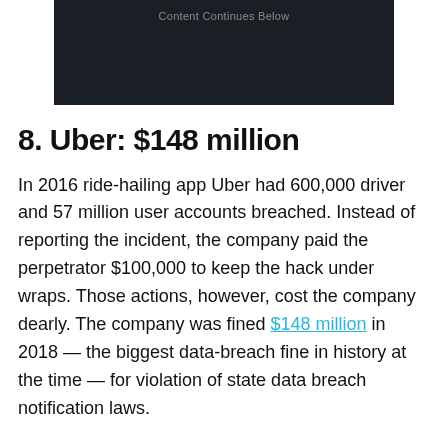[Figure (other): Dark advertisement banner with text 'Content Continues Below']
8. Uber: $148 million
In 2016 ride-hailing app Uber had 600,000 driver and 57 million user accounts breached. Instead of reporting the incident, the company paid the perpetrator $100,000 to keep the hack under wraps. Those actions, however, cost the company dearly. The company was fined $148 million in 2018 — the biggest data-breach fine in history at the time — for violation of state data breach notification laws.